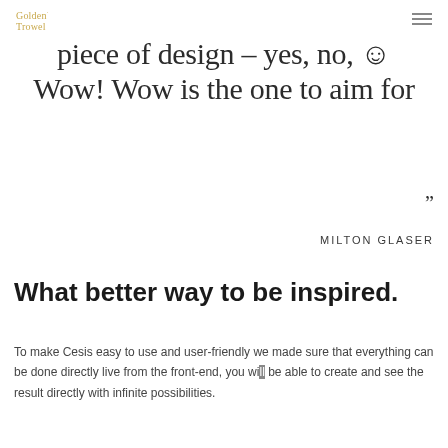Golden Trowel
piece of design – yes, no, ☺ Wow! Wow is the one to aim for
"
MILTON GLASER
What better way to be inspired.
To make Cesis easy to use and user-friendly we made sure that everything can be done directly live from the front-end, you will be able to create and see the result directly with infinite possibilities.